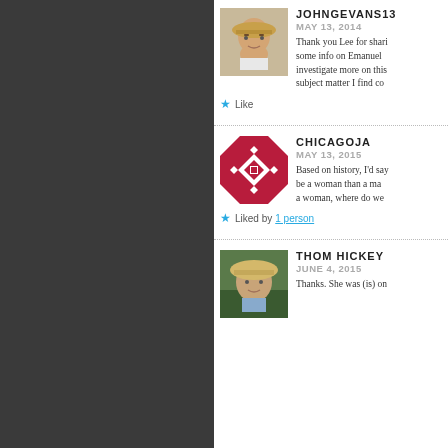[Figure (photo): Profile photo of johngevans13 - man with hat]
JOHNGEVANS13
MAY 13, 2014
Thank you Lee for shari some info on Emanuel investigate more on this subject matter I find co
Like
[Figure (illustration): ChicagoJA avatar - red and white geometric quilt pattern]
CHICAGOJA
MAY 13, 2015
Based on history, I'd say be a woman than a ma a woman, where do we
Liked by 1 person
[Figure (photo): Profile photo of Thom Hickey - person with hat outdoors]
THOM HICKEY
JUNE 4, 2015
Thanks. She was (is) on